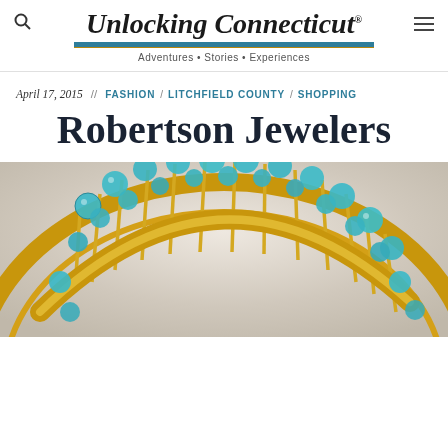Unlocking Connecticut® — Adventures • Stories • Experiences
April 17, 2015 // FASHION / LITCHFIELD COUNTY / SHOPPING
Robertson Jewelers
[Figure (photo): Close-up photo of a turquoise and gold bead collar necklace against a light background]